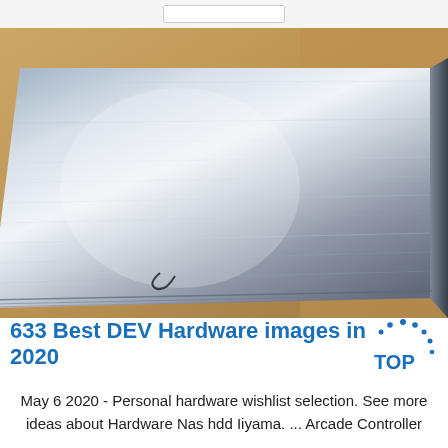[Figure (photo): Close-up photo of a stack of brushed aluminum/metal sheets or panels, viewed from an angle, sitting in a cardboard box on a wooden surface. The metal surface has a silver-grey brushed finish with light reflections.]
633 Best DEV Hardware images in 2020
[Figure (logo): TOP logo with blue dot pattern arranged in a circular arc above the word TOP in blue letters]
May 6 2020 - Personal hardware wishlist selection. See more ideas about Hardware Nas hdd Iiyama. ... Arcade Controller